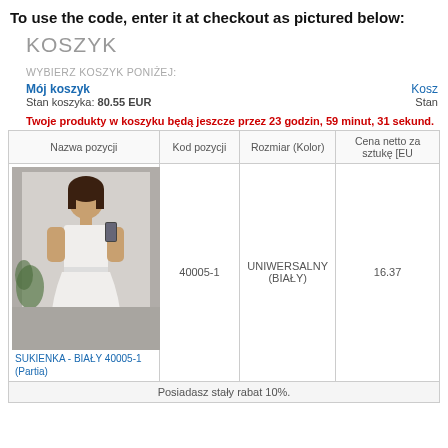To use the code, enter it at checkout as pictured below:
KOSZYK
WYBIERZ KOSZYK PONIŻEJ:
Mój koszyk
Stan koszyka: 80.55 EUR
Kosz...
Stan ...
Twoje produkty w koszyku będą jeszcze przez 23 godzin, 59 minut, 31 sekund.
| Nazwa pozycji | Kod pozycji | Rozmiar (Kolor) | Cena netto za sztukę [EU |
| --- | --- | --- | --- |
| SUKIENKA - BIAŁY 40005-1 (Partia) | 40005-1 | UNIWERSALNY (BIAŁY) | 16.37 |
Posiadasz stały rabat 10%.